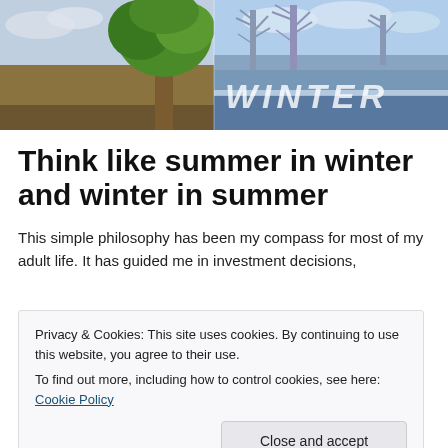[Figure (photo): Split image showing summer (green tree, brown field) on left and winter (bare snowy trees, frozen landscape with 'WINTER' text overlay) on right]
Think like summer in winter and winter in summer
This simple philosophy has been my compass for most of my adult life. It has guided me in investment decisions,
Privacy & Cookies: This site uses cookies. By continuing to use this website, you agree to their use.
To find out more, including how to control cookies, see here: Cookie Policy
Close and accept